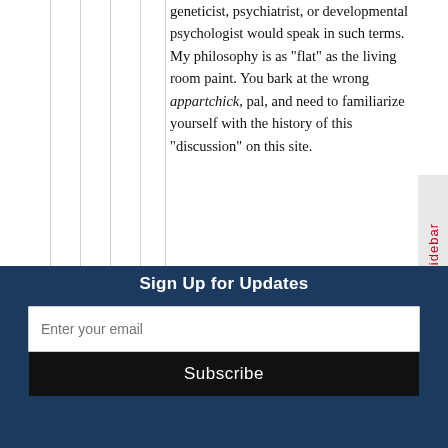geneticist, psychiatrist, or developmental psychologist would speak in such terms. My philosophy is as “flat” as the living room paint. You bark at the wrong appartchick, pal, and need to familiarize yourself with the history of this “discussion” on this site.
Reply
Metoikos says
May 25, 2012 at 8:37 PM
“no modern biologist, geneticist,
Sign Up for Updates